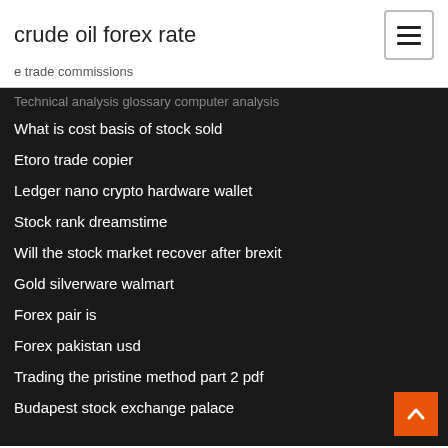crude oil forex rate
e trade commissions
Technical analysis glossary computer analysis
What is cost basis of stock sold
Etoro trade copier
Ledger nano crypto hardware wallet
Stock rank dreamstime
Will the stock market recover after brexit
Gold silverware walmart
Forex pair is
Forex pakistan usd
Trading the pristine method part 2 pdf
Budapest stock exchange palace